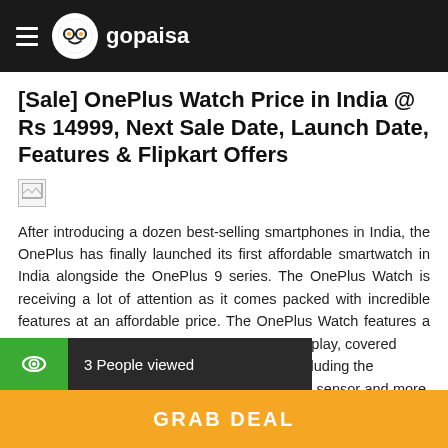gopaisa
[Sale] OnePlus Watch Price in India @ Rs 14999, Next Sale Date, Launch Date, Features & Flipkart Offers
[Figure (other): Broken/placeholder image icon]
After introducing a dozen best-selling smartphones in India, the OnePlus has finally launched its first affordable smartwatch in India alongside the OnePlus 9 series. The OnePlus Watch is receiving a lot of attention as it comes packed with incredible features at an affordable price. The OnePlus Watch features a 46mm dial with a 1.39 inch 2.5D AMOLED display, covered 5D curved glass. It gets a host of sensors, including the heart rate sensor, SpO2 sensor, air pressures sensor and more. It
3 People viewed
GRAB DEAL